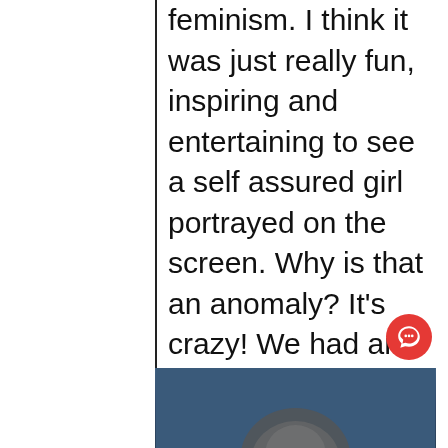feminism.  I think it was just really fun, inspiring and entertaining to see a self assured girl portrayed on the screen.  Why is that an anomaly?  It's crazy!  We had an original Missile Command arcade game and my daughter is the best in the family.  It never occurred to me that the fact that she's a girl made any difference what so ever.
[Figure (photo): Dark blurred photo of a person's head/hair from behind, bluish tones]